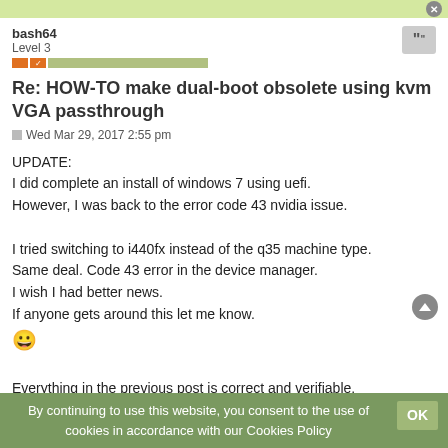bash64
Level 3
Re: HOW-TO make dual-boot obsolete using kvm VGA passthrough
Wed Mar 29, 2017 2:55 pm
UPDATE:
I did complete an install of windows 7 using uefi.
However, I was back to the error code 43 nvidia issue.

I tried switching to i440fx instead of the q35 machine type.
Same deal. Code 43 error in the device manager.
I wish I had better news.
If anyone gets around this let me know.
😀

Everything in the previous post is correct and verifiable.
bash64
Level 3
By continuing to use this website, you consent to the use of cookies in accordance with our Cookies Policy